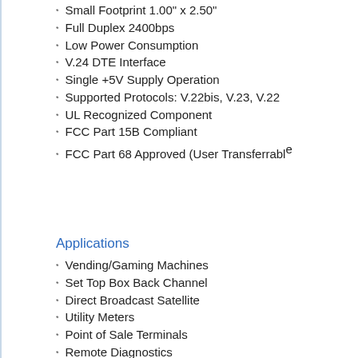Easy Integration
Small Footprint 1.00" x 2.50"
Full Duplex 2400bps
Low Power Consumption
V.24 DTE Interface
Single +5V Supply Operation
Supported Protocols: V.22bis, V.23, V.22
UL Recognized Component
FCC Part 15B Compliant
FCC Part 68 Approved (User Transferrable
Applications
Vending/Gaming Machines
Set Top Box Back Channel
Direct Broadcast Satellite
Utility Meters
Point of Sale Terminals
Remote Diagnostics
Remote Telemetry
Remote Monitoring
Embedded Applications